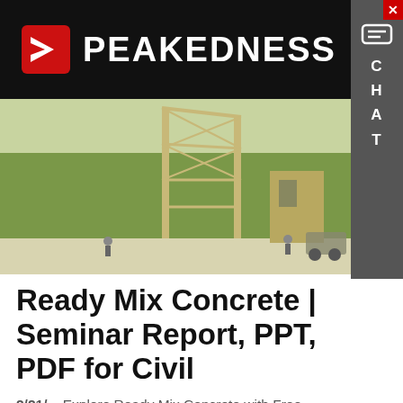PEAKEDNESS
[Figure (photo): Concrete batching plant / construction tower structure with green trees in background, workers visible at base]
Ready Mix Concrete | Seminar Report, PPT, PDF for Civil
2/21/  · Explore Ready Mix Concrete with Free Download of Seminar Report and PPT in PDF and DOC Format. Also…
Learn More
[Figure (photo): Concrete plant machinery with blue sky and hills in background]
Hey, we are live 24/7. How may I help you?